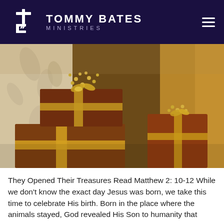Tommy Bates Ministries
[Figure (photo): Ornate gift boxes wrapped in dark reddish-brown paper with gold ribbons and gold floral decorations with pearl-like beads on top, stacked on each other against a decorative background.]
They Opened Their Treasures Read Matthew 2: 10-12 While we don't know the exact day Jesus was born, we take this time to celebrate His birth. Born in the place where the animals stayed, God revealed His Son to humanity that